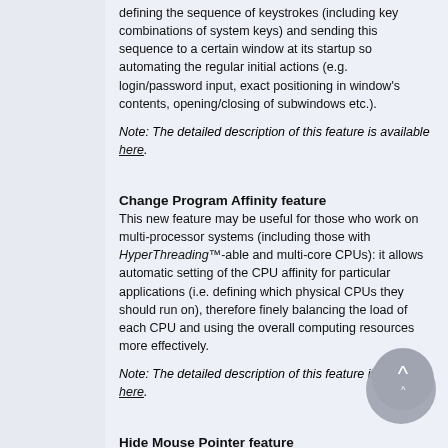defining the sequence of keystrokes (including key combinations of system keys) and sending this sequence to a certain window at its startup so automating the regular initial actions (e.g. login/password input, exact positioning in window's contents, opening/closing of subwindows etc.).
Note: The detailed description of this feature is available here.
Change Program Affinity feature
This new feature may be useful for those who work on multi-processor systems (including those with HyperThreading™-able and multi-core CPUs): it allows automatic setting of the CPU affinity for particular applications (i.e. defining which physical CPUs they should run on), therefore finely balancing the load of each CPU and using the overall computing resources more effectively.
Note: The detailed description of this feature is available here.
Hide Mouse Pointer feature
This new feature is useful most for the Tablet PC users: it allows hiding the mouse pointer while it is floating over a particular window - e.g. Tablet PC Input Panel - so the mouse pointer won't